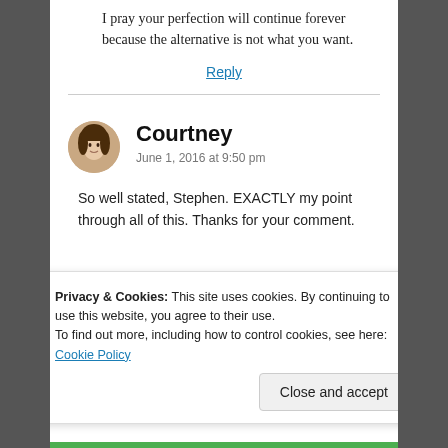I pray your perfection will continue forever because the alternative is not what you want.
Reply
Courtney
June 1, 2016 at 9:50 pm
So well stated, Stephen. EXACTLY my point through all of this. Thanks for your comment.
Privacy & Cookies: This site uses cookies. By continuing to use this website, you agree to their use.
To find out more, including how to control cookies, see here: Cookie Policy
Close and accept